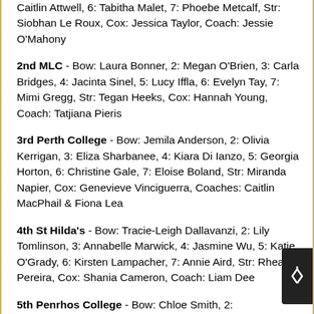Caitlin Attwell, 6: Tabitha Malet, 7: Phoebe Metcalf, Str: Siobhan Le Roux, Cox: Jessica Taylor, Coach: Jessie O'Mahony
2nd MLC - Bow: Laura Bonner, 2: Megan O'Brien, 3: Carla Bridges, 4: Jacinta Sinel, 5: Lucy Iffla, 6: Evelyn Tay, 7: Mimi Gregg, Str: Tegan Heeks, Cox: Hannah Young, Coach: Tatjiana Pieris
3rd Perth College - Bow: Jemila Anderson, 2: Olivia Kerrigan, 3: Eliza Sharbanee, 4: Kiara Di Ianzo, 5: Georgia Horton, 6: Christine Gale, 7: Eloise Boland, Str: Miranda Napier, Cox: Genevieve Vinciguerra, Coaches: Caitlin MacPhail & Fiona Lea
4th St Hilda's - Bow: Tracie-Leigh Dallavanzi, 2: Lily Tomlinson, 3: Annabelle Marwick, 4: Jasmine Wu, 5: Katie O'Grady, 6: Kirsten Lampacher, 7: Annie Aird, Str: Rhea Pereira, Cox: Shania Cameron, Coach: Liam Dee
5th Penrhos College - Bow: Chloe Smith, 2: